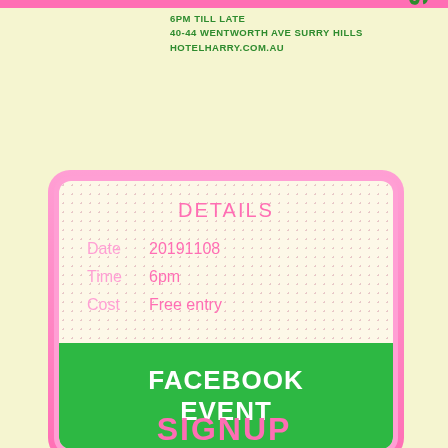6PM TILL LATE
40-44 WENTWORTH AVE SURRY HILLS
HOTELHARRY.COM.AU
Y'S
DETAILS
Date  20191108
Time  6pm
Cost  Free entry
FACEBOOK EVENT
SIGNUP